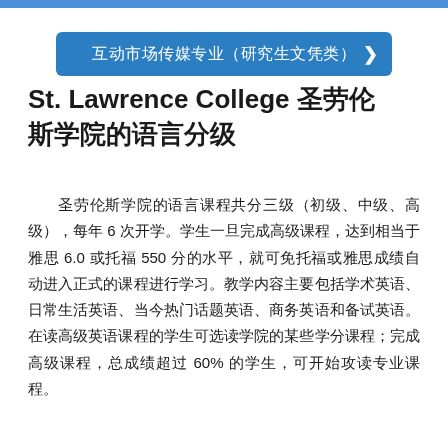互动市场传媒专业（研究生文凭类）
St. Lawrence College 圣劳伦斯学院的语言分级
圣劳伦斯学院的语言课程共分三级（初级、中级、高级），每年 6 次开学。学生一旦完成高级课程，达到相当于雅思 6.0 或托福 550 分的水平，就可免托福或雅思成绩自动进入正式的课程进行学习。教学内容主要包括学术英语、日常生活英语、当今热门话题英语、商务英语和备试英语。在读高级英语课程的学生可选读学院的某些学分课程；完成高级课程，总成绩超过 60% 的学生，可开始攻读专业课程。